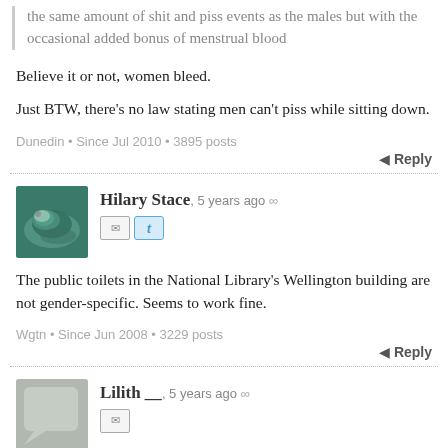the same amount of shit and piss events as the males but with the occasional added bonus of menstrual blood
Believe it or not, women bleed.
Just BTW, there's no law stating men can't piss while sitting down.
Dunedin • Since Jul 2010 • 3895 posts
Reply
Hilary Stace, 5 years ago ∞
The public toilets in the National Library's Wellington building are not gender-specific. Seems to work fine.
Wgtn • Since Jun 2008 • 3229 posts
Reply
Lilith __, 5 years ago ∞